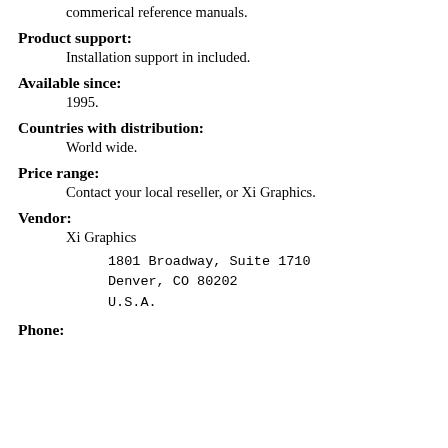commerical reference manuals.
Product support:
Installation support in included.
Available since:
1995.
Countries with distribution:
World wide.
Price range:
Contact your local reseller, or Xi Graphics.
Vendor:
Xi Graphics
1801 Broadway, Suite 1710
Denver, CO 80202
U.S.A.
Phone: